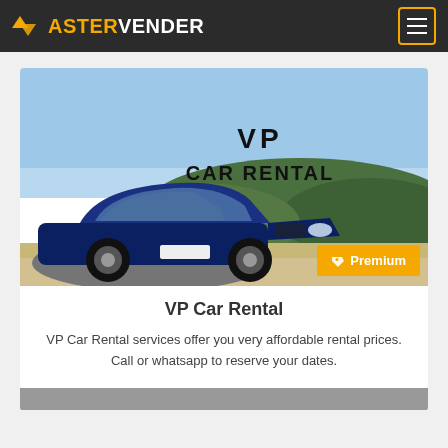AV ASTERVENDER
[Figure (photo): Blue BMW car parked outdoors with bushes and sky in background, with 'VP CAR RENTAL' text overlay and an orange Premium badge in the bottom right corner]
VP Car Rental
VP Car Rental services offer you very affordable rental prices. Call or whatsapp to reserve your dates.